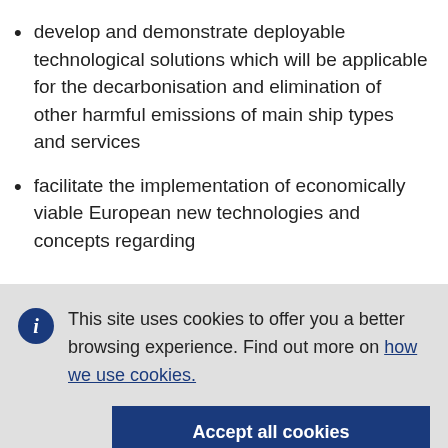develop and demonstrate deployable technological solutions which will be applicable for the decarbonisation and elimination of other harmful emissions of main ship types and services
facilitate the implementation of economically viable European new technologies and concepts regarding
This site uses cookies to offer you a better browsing experience. Find out more on how we use cookies.
Accept all cookies
Accept only essential cookies